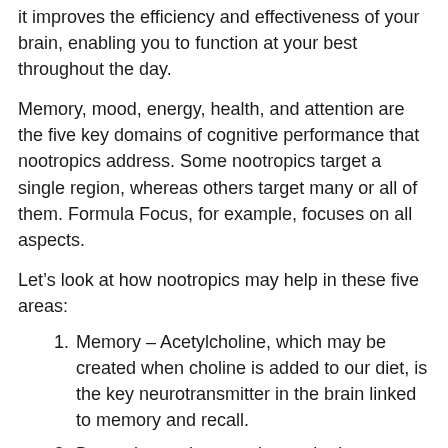it improves the efficiency and effectiveness of your brain, enabling you to function at your best throughout the day.
Memory, mood, energy, health, and attention are the five key domains of cognitive performance that nootropics address. Some nootropics target a single region, whereas others target many or all of them. Formula Focus, for example, focuses on all aspects.
Let’s look at how nootropics may help in these five areas:
Memory – Acetylcholine, which may be created when choline is added to our diet, is the key neurotransmitter in the brain linked to memory and recall.
Dopamine and serotonin are the key neurotransmitters in the brain that regulate mood, and they make us feel more at ease with ourselves.
Increased ATP generation provides the brain with the energy it needs to work at its optimum. When compared